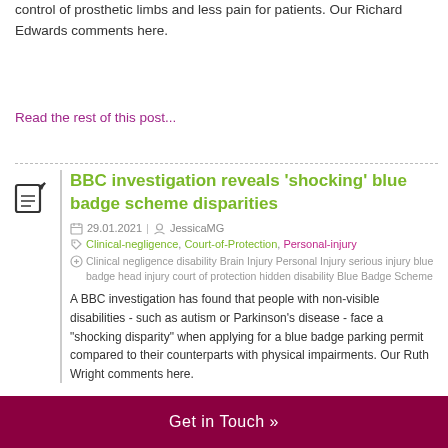control of prosthetic limbs and less pain for patients. Our Richard Edwards comments here.
Read the rest of this post...
BBC investigation reveals 'shocking' blue badge scheme disparities
29.01.2021 | JessicaMG
Clinical-negligence, Court-of-Protection, Personal-injury
Clinical negligence disability Brain Injury Personal Injury serious injury blue badge head injury court of protection hidden disability Blue Badge Scheme
A BBC investigation has found that people with non-visible disabilities - such as autism or Parkinson's disease - face a "shocking disparity" when applying for a blue badge parking permit compared to their counterparts with physical impairments. Our Ruth Wright comments here.
Get in Touch »